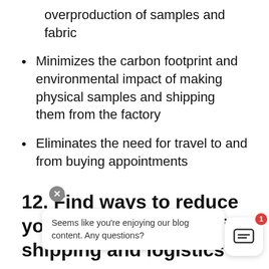overproduction of samples and fabric
Minimizes the carbon footprint and environmental impact of making physical samples and shipping them from the factory
Eliminates the need for travel to and from buying appointments
12. Find ways to reduce your carbon footprint in shipping and logistics
According t[o ...] said knowin[g ...] ki[...]
Seems like you're enjoying our blog content. Any questions?